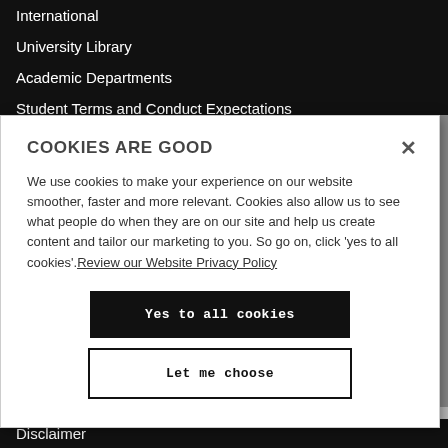International
University Library
Academic Departments
Student Terms and Conduct Expectations
COOKIES ARE GOOD
We use cookies to make your experience on our website smoother, faster and more relevant. Cookies also allow us to see what people do when they are on our site and help us create content and tailor our marketing to you. So go on, click 'yes to all cookies'. Review our Website Privacy Policy
Yes to all cookies
Let me choose
Disclaimer